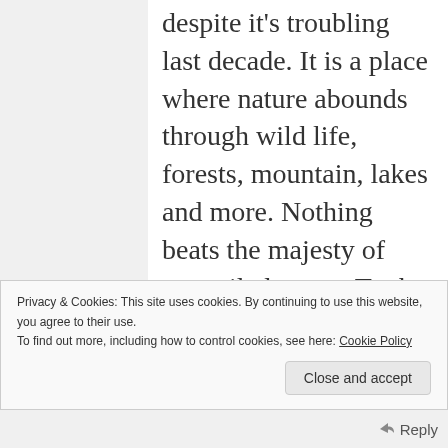despite it's troubling last decade. It is a place where nature abounds through wild life, forests, mountain, lakes and more. Nothing beats the majesty of unspoiled nature.To the author – this was an awesome piece written about Millinocket's Marathon that even some people, such as myself, who live in Maine didn't know about. Thank you
Privacy & Cookies: This site uses cookies. By continuing to use this website, you agree to their use.
To find out more, including how to control cookies, see here: Cookie Policy
Close and accept
Reply